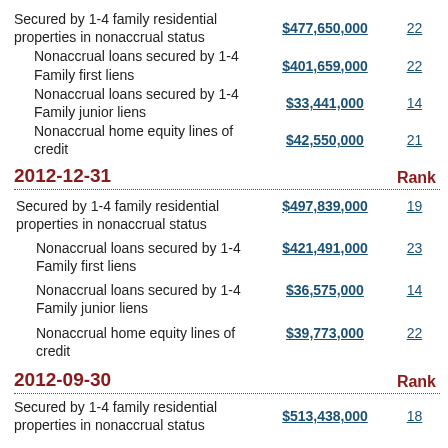Secured by 1-4 family residential properties in nonaccrual status
Nonaccrual loans secured by 1-4 Family first liens
Nonaccrual loans secured by 1-4 Family junior liens
Nonaccrual home equity lines of credit
2012-12-31
|  |  | Rank |
| --- | --- | --- |
| Secured by 1-4 family residential properties in nonaccrual status | $497,839,000 | 19 |
| Nonaccrual loans secured by 1-4 Family first liens | $421,491,000 | 23 |
| Nonaccrual loans secured by 1-4 Family junior liens | $36,575,000 | 14 |
| Nonaccrual home equity lines of credit | $39,773,000 | 22 |
2012-09-30
Secured by 1-4 family residential properties in nonaccrual status